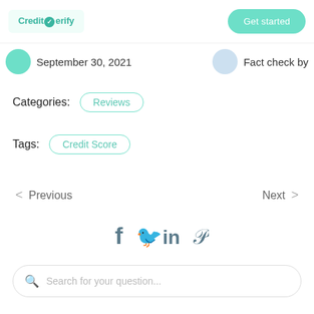CreditVerify | Get started
September 30, 2021   Fact check by
Categories:   Reviews
Tags:   Credit Score
< Previous   Next >
[Figure (other): Social share icons: Facebook, Twitter, LinkedIn, Pinterest]
Search for your question...